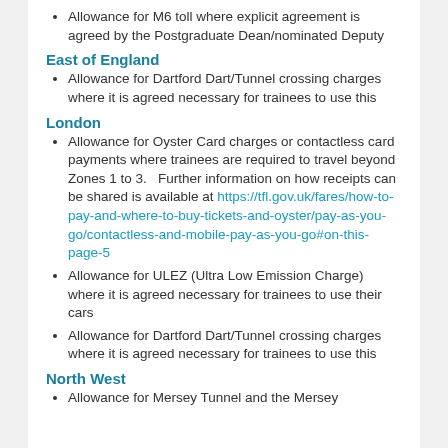Allowance for M6 toll where explicit agreement is agreed by the Postgraduate Dean/nominated Deputy
East of England
Allowance for Dartford Dart/Tunnel crossing charges where it is agreed necessary for trainees to use this
London
Allowance for Oyster Card charges or contactless card payments where trainees are required to travel beyond Zones 1 to 3.   Further information on how receipts can be shared is available at https://tfl.gov.uk/fares/how-to-pay-and-where-to-buy-tickets-and-oyster/pay-as-you-go/contactless-and-mobile-pay-as-you-go#on-this-page-5
Allowance for ULEZ (Ultra Low Emission Charge) where it is agreed necessary for trainees to use their cars
Allowance for Dartford Dart/Tunnel crossing charges where it is agreed necessary for trainees to use this
North West
Allowance for Mersey Tunnel and the Mersey